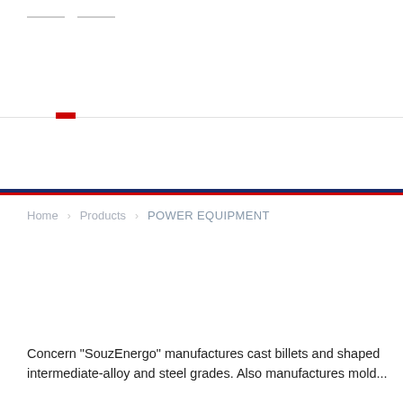Home   Products   POWER EQUIPMENT
Concern "SouzEnergo" manufactures cast billets and shaped intermediate-alloy and steel grades. Also manufactures mold...